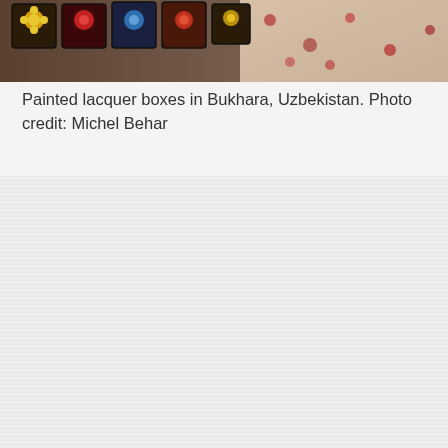[Figure (photo): Painted lacquer boxes displayed in Bukhara, Uzbekistan. Colorful decorative boxes with floral patterns on a patterned fabric background.]
Painted lacquer boxes in Bukhara, Uzbekistan. Photo credit: Michel Behar